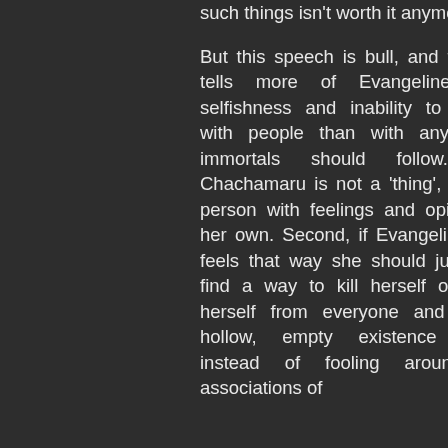such things isn't worth it anymore."

But this speech is bull, and frankly it tells more of Evangeline's own selfishness and inability to connect with people than with any morals immortals should follow. First, Chachamaru is not a 'thing', she is a person with feelings and opinions of her own. Second, if Evangeline really feels that way she should just either find a way to kill herself or isolate herself from everyone and lead a hollow, empty existence forever instead of fooling around with associations of